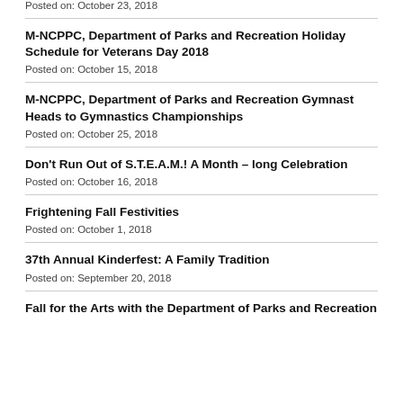Posted on: October 23, 2018
M-NCPPC, Department of Parks and Recreation Holiday Schedule for Veterans Day 2018
Posted on: October 15, 2018
M-NCPPC, Department of Parks and Recreation Gymnast Heads to Gymnastics Championships
Posted on: October 25, 2018
Don't Run Out of S.T.E.A.M.! A Month – long Celebration
Posted on: October 16, 2018
Frightening Fall Festivities
Posted on: October 1, 2018
37th Annual Kinderfest: A Family Tradition
Posted on: September 20, 2018
Fall for the Arts with the Department of Parks and Recreation